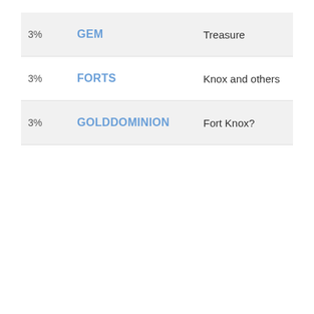|  | Name | Description |
| --- | --- | --- |
| 3% | GEM | Treasure |
| 3% | FORTS | Knox and others |
| 3% | GOLDDOMINION | Fort Knox? |